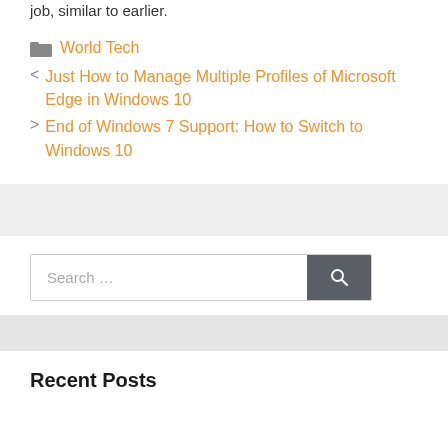job, similar to earlier.
World Tech
< Just How to Manage Multiple Profiles of Microsoft Edge in Windows 10
> End of Windows 7 Support: How to Switch to Windows 10
Search …
Recent Posts